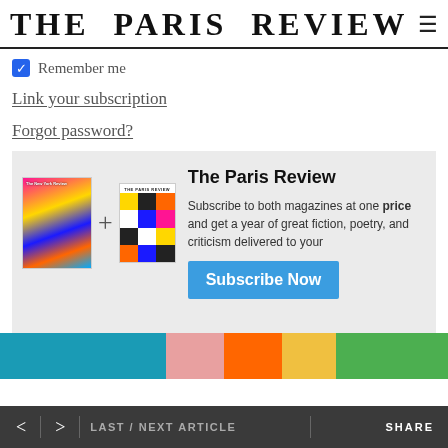THE PARIS REVIEW
Remember me
Link your subscription
Forgot password?
[Figure (infographic): Subscription promotion box showing two magazine covers (The New York Review and The Paris Review) with a plus sign between them, accompanied by text 'The Paris Review' and 'Subscribe to both magazines at one price and get a year of great fiction, poetry, and criticism delivered to your door', with a blue Subscribe Now button.]
[Figure (photo): Colorful abstract image at the bottom with blue, pink, orange, yellow, and green horizontal bands.]
< > LAST / NEXT ARTICLE   SHARE